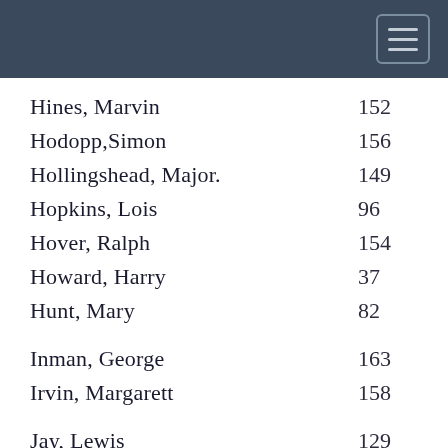Hines, Marvin   152
Hodopp,Simon   156
Hollingshead, Major.   149
Hopkins, Lois   96
Hover, Ralph   154
Howard, Harry   37
Hunt, Mary   82
Inman, George   163
Irvin, Margarett   158
Jay, Lewis   129
Jones, Cora   57